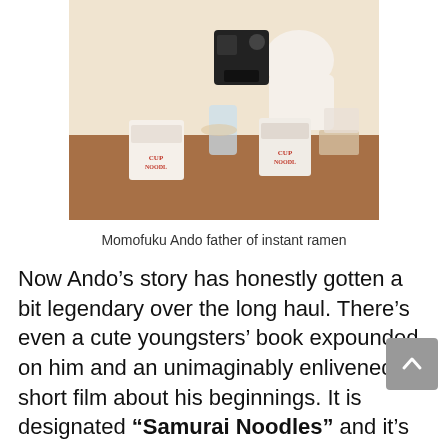[Figure (photo): Vintage photograph of Momofuku Ando sitting at a table with multiple Cup Noodles cups and a machine, wearing a white outfit. Warm, faded color photo.]
Momofuku Ando father of instant ramen
Now Ando’s story has honestly gotten a bit legendary over the long haul. There’s even a cute youngsters’ book expounded on him and an unimaginably enlivened short film about his beginnings. It is designated “Samurai Noodles” and it’s presumably the coolest “Our Story” page an organization can have.
To see how that means tory